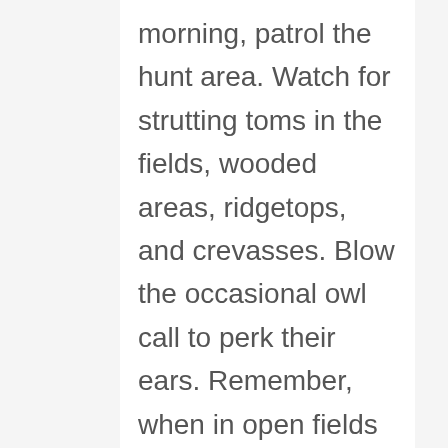morning, patrol the hunt area. Watch for strutting toms in the fields, wooded areas, ridgetops, and crevasses. Blow the occasional owl call to perk their ears. Remember, when in open fields keep quiet always pay stark attention.
By afternoon you